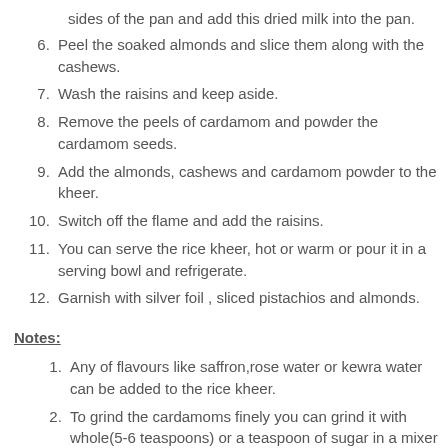(continuation) sides of the pan and add this dried milk into the pan.
6. Peel the soaked almonds and slice them along with the cashews.
7. Wash the raisins and keep aside.
8. Remove the peels of cardamom and powder the cardamom seeds.
9. Add the almonds, cashews and cardamom powder to the kheer.
10. Switch off the flame and add the raisins.
11. You can serve the rice kheer, hot or warm or pour it in a serving bowl and refrigerate.
12. Garnish with silver foil , sliced pistachios and almonds.
Notes:
1. Any of flavours like saffron,rose water or kewra water can be added to the rice kheer.
2. To grind the cardamoms finely you can grind it with whole(5-6 teaspoons) or a teaspoon of sugar in a mixer grinder.